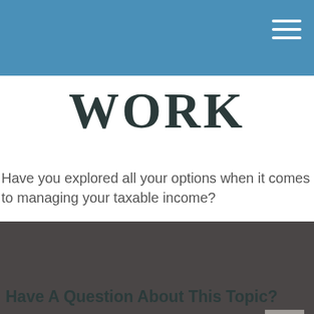WORK
Have you explored all your options when it comes to managing your taxable income?
[Figure (other): Dark gray rectangular section used as a visual divider or image placeholder area]
Have A Question About This Topic?